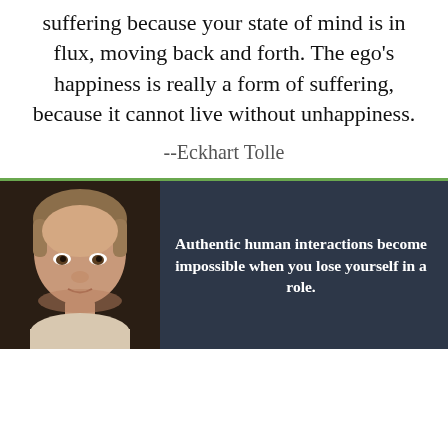suffering because your state of mind is in flux, moving back and forth. The ego's happiness is really a form of suffering, because it cannot live without unhappiness.
--Eckhart Tolle
[Figure (photo): Portrait photo of Eckhart Tolle against a dark background, with a dark navy banner containing a quote to the right.]
Authentic human interactions become impossible when you lose yourself in a role.